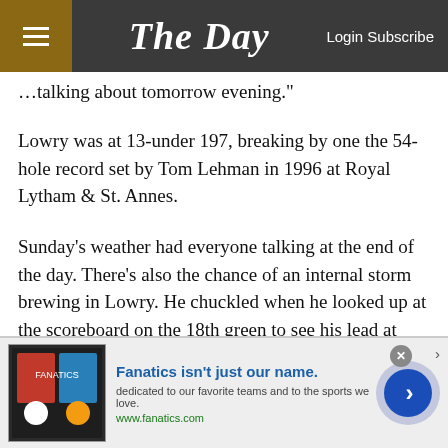The Day — Login Subscribe
...talking about tomorrow evening."
Lowry was at 13-under 197, breaking by one the 54-hole record set by Tom Lehman in 1996 at Royal Lytham & St. Annes.
Sunday's weather had everyone talking at the end of the day. There's also the chance of an internal storm brewing in Lowry. He chuckled when he looked up at the scoreboard on the 18th green to see his lead at four shots, knowing Oakmont would be brought up.
[Figure (screenshot): Advertisement banner for Fanatics.com with logo image, headline 'Fanatics isn't just our name.', subtext 'dedicated to our favorite teams and to the sports we love.', URL www.fanatics.com, and a blue arrow circle button]